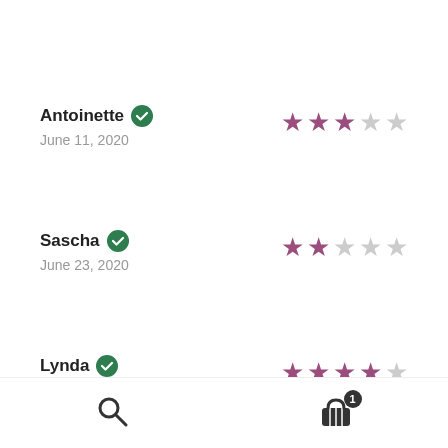Antoinette — verified — June 11, 2020 — 3 stars
Sascha — verified — June 23, 2020 — 2 stars
Lynda — verified — July 11, 2020 — 4 stars
Search | Cart (1)